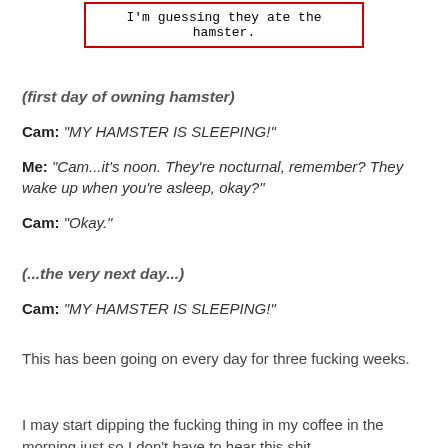[Figure (screenshot): A bordered box with red outline containing the text: I'm guessing they ate the hamster.]
(first day of owning hamster)
Cam: "MY HAMSTER IS SLEEPING!"
Me: "Cam...it's noon. They're nocturnal, remember? They wake up when you're asleep, okay?"
Cam: "Okay."
(...the very next day...)
Cam: "MY HAMSTER IS SLEEPING!"
This has been going on every day for three fucking weeks.
I may start dipping the fucking thing in my coffee in the morning just so I don't have to hear this shit.
Watch Starbucks take this idea and run with it.